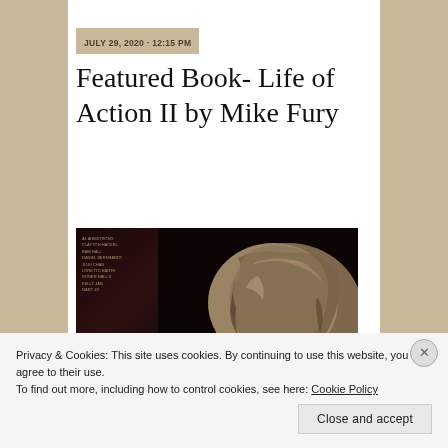[Figure (photo): Tan/brown bar at the top, partially visible book cover image or header image]
JULY 29, 2020 · 12:15 PM
Featured Book- Life of Action II by Mike Fury
[Figure (photo): Book cover image for 'Life of Action II by Mike Fury' showing a person's hair against a dark background with contributor names listed in small text on the left side]
Privacy & Cookies: This site uses cookies. By continuing to use this website, you agree to their use.
To find out more, including how to control cookies, see here: Cookie Policy
Close and accept